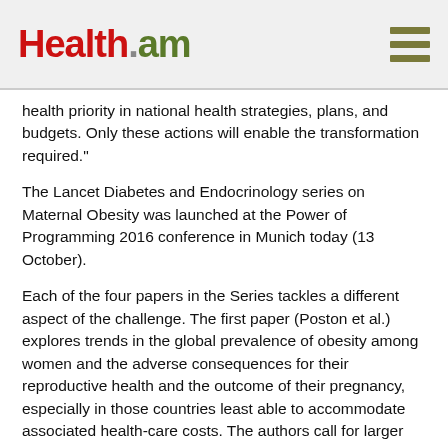Health.am
health priority in national health strategies, plans, and budgets. Only these actions will enable the transformation required."
The Lancet Diabetes and Endocrinology series on Maternal Obesity was launched at the Power of Programming 2016 conference in Munich today (13 October).
Each of the four papers in the Series tackles a different aspect of the challenge. The first paper (Poston et al.) explores trends in the global prevalence of obesity among women and the adverse consequences for their reproductive health and the outcome of their pregnancy, especially in those countries least able to accommodate associated health-care costs. The authors call for larger studies to determine the scale of complications in these countries, which may not be prepared to manage the increasing burden on healthcare resources, and for an international drive to reduce obesity in women of reproductive age.